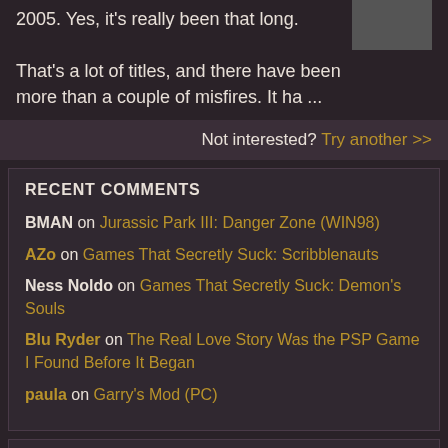2005. Yes, it's really been that long.
That's a lot of titles, and there have been more than a couple of misfires. It ha ...
Not interested? Try another >>
RECENT COMMENTS
BMAN on Jurassic Park III: Danger Zone (WIN98)
AZo on Games That Secretly Suck: Scribblenauts
Ness Noldo on Games That Secretly Suck: Demon's Souls
Blu Ryder on The Real Love Story Was the PSP Game I Found Before It Began
paula on Garry's Mod (PC)
GAMECOLA ON YOUTUBE
[Figure (screenshot): YouTube video thumbnail showing a circular icon/logo]